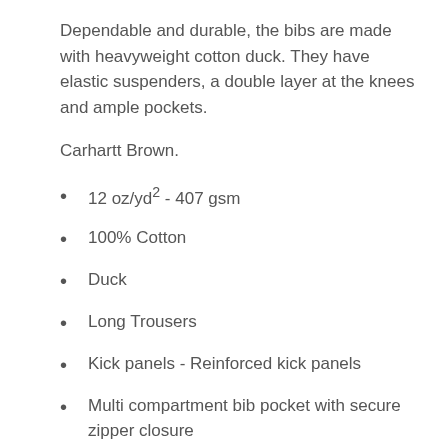Dependable and durable, the bibs are made with heavyweight cotton duck. They have elastic suspenders, a double layer at the knees and ample pockets.
Carhartt Brown.
12 oz/yd² - 407 gsm
100% Cotton
Duck
Long Trousers
Kick panels - Reinforced kick panels
Multi compartment bib pocket with secure zipper closure
Two reinforced front ledge pockets